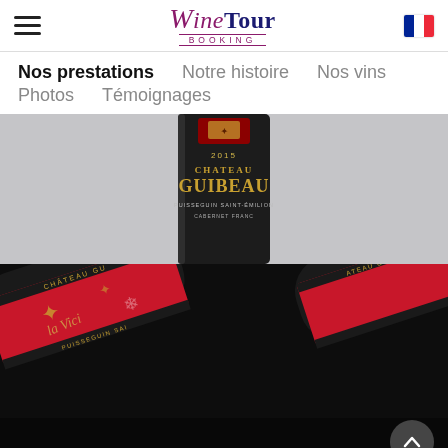WineTour Booking – navigation header with hamburger menu and French flag
Nos prestations
Notre histoire
Nos vins
Photos
Témoignages
[Figure (photo): Close-up of a Château Guibeau 2015 wine bottle label – dark bottle with gold lettering reading CHATEAU GUIBEAU, Puisseguin Saint-Émilion, Cabernet Franc]
[Figure (photo): Close-up of a red-labeled Château Guibeau special edition wine bottle against dark background, showing partial text PUISSEGUIN SAI… and decorative snowflake/star motifs in gold on a red label]